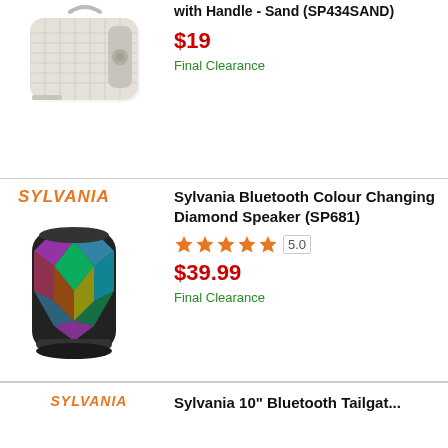with Handle - Sand (SP434SAND)
$19
Final Clearance
[Figure (photo): Sylvania Bluetooth fabric speaker with handle in sand/beige color]
SYLVANIA
Sylvania Bluetooth Colour Changing Diamond Speaker (SP681)
5.0 stars rating
$39.99
Final Clearance
[Figure (photo): Sylvania Bluetooth Colour Changing Diamond Speaker with multicolor LED lights]
SYLVANIA
Sylvania 10" Bluetooth Tailgat...